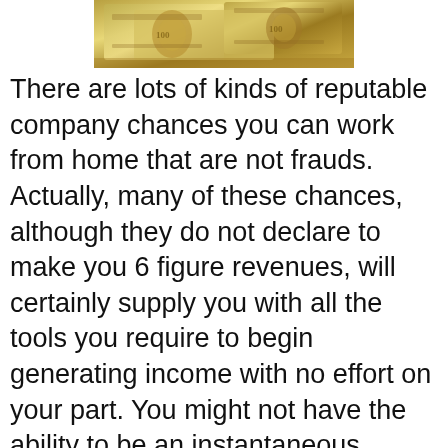[Figure (photo): A close-up photograph of US $100 dollar bills spread out, showing the faces and details of multiple banknotes.]
There are lots of kinds of reputable company chances you can work from home that are not frauds. Actually, many of these chances, although they do not declare to make you 6 figure revenues, will certainly supply you with all the tools you require to begin generating income with no effort on your part. You might not have the ability to be an instantaneous millionaire, yet there are a host of chances that assure you will certainly make enough cash to get by as well as provide for your household. Here are some examples of operate at home business opportunities where you don’t require an upfront investment of money or time to start to see profits.